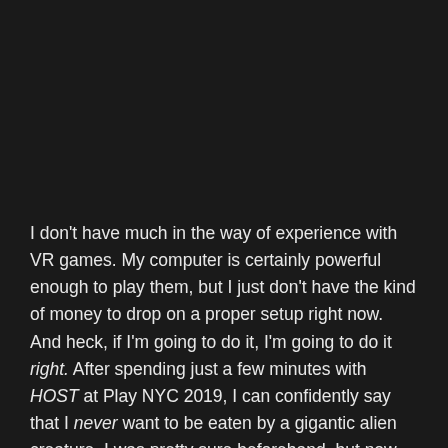I don't have much in the way of experience with VR games. My computer is certainly powerful enough to play them, but I just don't have the kind of money to drop on a proper setup right now. And heck, if I'm going to do it, I'm going to do it right. After spending just a few minutes with HOST at Play NYC 2019, I can confidently say that I never want to be eaten by a gigantic alien creature. I was pretty sure beforehand, but now I'm absolutely certain.